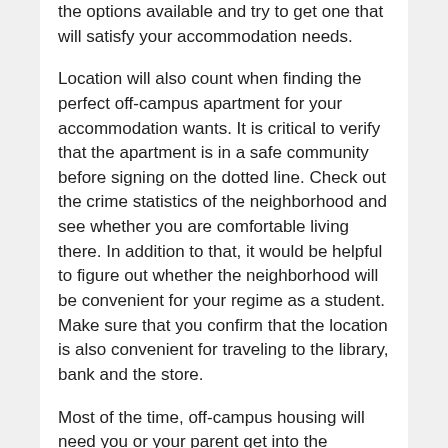the options available and try to get one that will satisfy your accommodation needs.
Location will also count when finding the perfect off-campus apartment for your accommodation wants. It is critical to verify that the apartment is in a safe community before signing on the dotted line. Check out the crime statistics of the neighborhood and see whether you are comfortable living there. In addition to that, it would be helpful to figure out whether the neighborhood will be convenient for your regime as a student. Make sure that you confirm that the location is also convenient for traveling to the library, bank and the store.
Most of the time, off-campus housing will need you or your parent get into the pockets. As such, you should know how much you can afford to pat before searching for your perfect apartment. It is essential that you ensure that rent for the housing doesn't consume more than 30 percent of the money you make in a month. Make sure that you look out for other expenses like pet fees as well